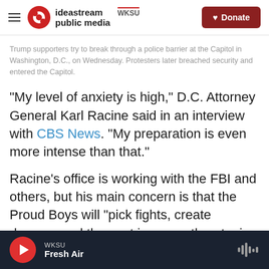ideastream public media | WKSU | Donate
Trump supporters try to break through a police barrier at the Capitol in Washington, D.C., on Wednesday. Protesters later breached security and entered the Capitol.
"My level of anxiety is high," D.C. Attorney General Karl Racine said in an interview with CBS News. "My preparation is even more intense than that."
Racine's office is working with the FBI and others, but his main concern is that the Proud Boys will "pick fights, create damage and then act in a very threatening way."
WKSU | Fresh Air